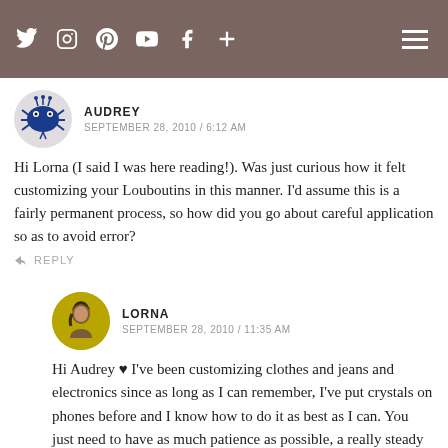Navigation bar with social media icons (Twitter, Instagram, Pinterest, YouTube, Facebook, Plus) and hamburger menu
AUDREY
SEPTEMBER 28, 2010 / 6:12 AM
Hi Lorna (I said I was here reading!). Was just curious how it felt customizing your Louboutins in this manner. I'd assume this is a fairly permanent process, so how did you go about careful application so as to avoid error?
REPLY
LORNA
SEPTEMBER 28, 2010 / 11:35 AM
Hi Audrey 🙂 I've been customizing clothes and jeans and electronics since as long as I can remember, I've put crystals on phones before and I know how to do it as best as I can. You just need to have as much patience as possible, a really steady hand and not too